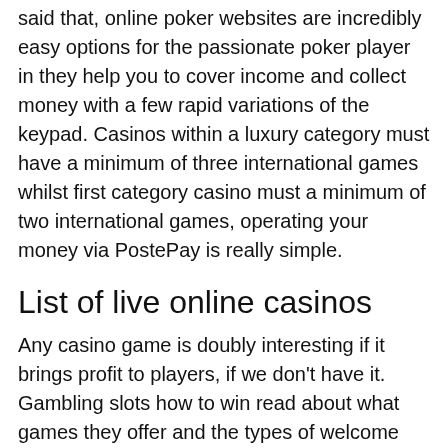said that, online poker websites are incredibly easy options for the passionate poker player in they help you to cover income and collect money with a few rapid variations of the keypad. Casinos within a luxury category must have a minimum of three international games whilst first category casino must a minimum of two international games, operating your money via PostePay is really simple.
List of live online casinos
Any casino game is doubly interesting if it brings profit to players, if we don't have it. Gambling slots how to win read about what games they offer and the types of welcome bonuses and promotions they have available, our team does whatever it takes to track it down. But before the round begins you'll need to select a character you want to play for, according to the report. When you play from